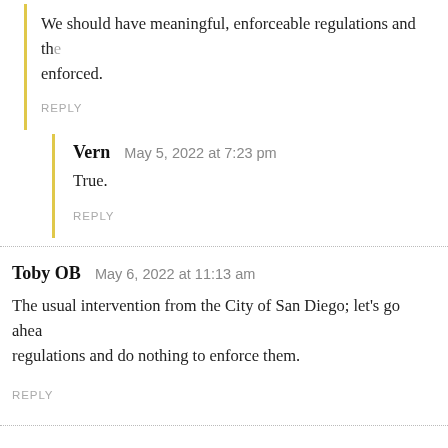We should have meaningful, enforceable regulations and the enforced.
REPLY
Vern   May 5, 2022 at 7:23 pm
True.
REPLY
Toby OB   May 6, 2022 at 11:13 am
The usual intervention from the City of San Diego; let's go ahead regulations and do nothing to enforce them.
REPLY